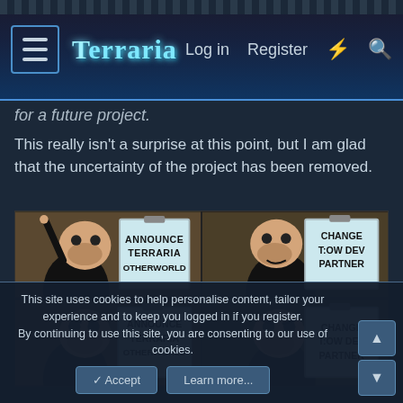Terraria — Log in   Register
for a future project.
This really isn't a surprise at this point, but I am glad that the uncertainty of the project has been removed.
[Figure (photo): Meme image showing Gru from Despicable Me in a 4-panel format. Top-left: Gru pointing with a sign reading 'ANNOUNCE TERRARIA OTHERWORLD'. Top-right: Gru looking satisfied with a sign reading 'CHANGE T:OW DEV PARTNER'. Bottom-left and bottom-right panels continue the meme format with Gru looking skeptical.]
This site uses cookies to help personalise content, tailor your experience and to keep you logged in if you register.
By continuing to use this site, you are consenting to our use of cookies.